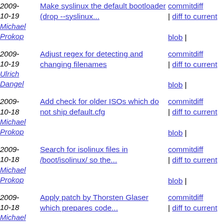2009-10-19 Michael Prokop | Make syslinux the default bootloader (drop --syslinux... | commitdiff | diff to current blob |
2009-10-19 Ulrich Dangel | Adjust regex for detecting and changing filenames | commitdiff | diff to current blob |
2009-10-18 Michael Prokop | Add check for older ISOs which do not ship default.cfg | commitdiff | diff to current blob |
2009-10-18 Michael Prokop | Search for isolinux files in /boot/isolinux/ so the... | commitdiff | diff to current blob |
2009-10-18 Michael Prokop | Apply patch by Thorsten Glaser which prepares code... | commitdiff | diff to current blob |
2009-10-18 Michael Prokop | Fix merge conflicts | commitdiff | diff to current blob |